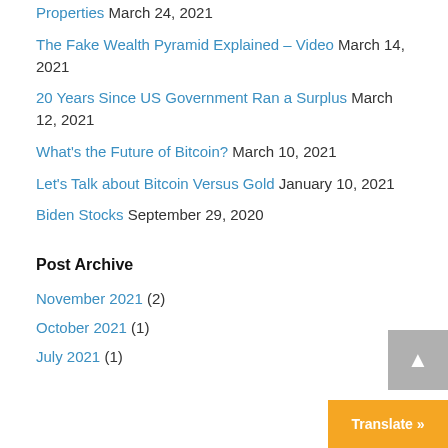Properties March 24, 2021
The Fake Wealth Pyramid Explained – Video March 14, 2021
20 Years Since US Government Ran a Surplus March 12, 2021
What's the Future of Bitcoin? March 10, 2021
Let's Talk about Bitcoin Versus Gold January 10, 2021
Biden Stocks September 29, 2020
Post Archive
November 2021 (2)
October 2021 (1)
July 2021 (1)